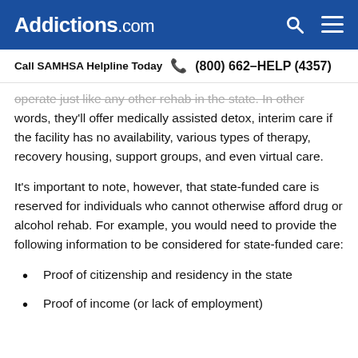Addictions.com
Call SAMHSA Helpline Today  (800) 662-HELP (4357)
operate just like any other rehab in the state. In other words, they'll offer medically assisted detox, interim care if the facility has no availability, various types of therapy, recovery housing, support groups, and even virtual care.
It's important to note, however, that state-funded care is reserved for individuals who cannot otherwise afford drug or alcohol rehab. For example, you would need to provide the following information to be considered for state-funded care:
Proof of citizenship and residency in the state
Proof of income (or lack of employment)